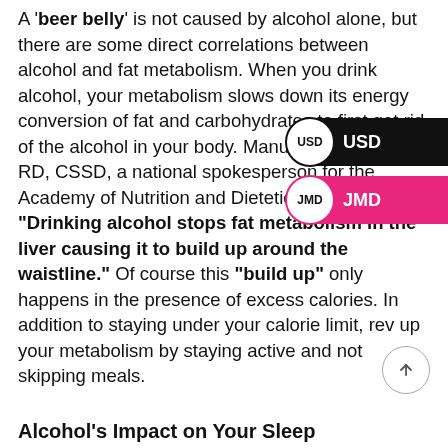A 'beer belly' is not caused by alcohol alone, but there are some direct correlations between alcohol and fat metabolism. When you drink alcohol, your metabolism slows down its energy conversion of fat and carbohydrates to first get rid of the alcohol in your body. Manuel Villacorta, MS, RD, CSSD, a national spokesperson for the Academy of Nutrition and Dietetics shares, “Drinking alcohol stops fat metabolism in the liver causing it to build up around the waistline.” Of course this “build up” only happens in the presence of excess calories. In addition to staying under your calorie limit, rev up your metabolism by staying active and not skipping meals.
Alcohol’s Impact on Your Sleep